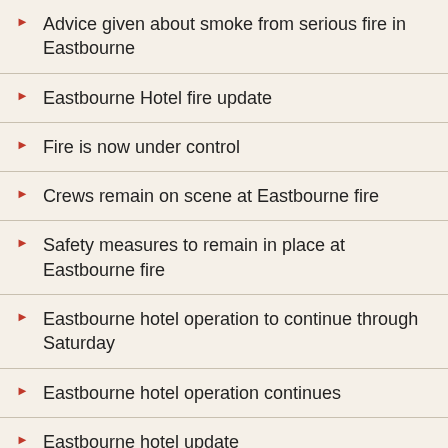Advice given about smoke from serious fire in Eastbourne
Eastbourne Hotel fire update
Fire is now under control
Crews remain on scene at Eastbourne fire
Safety measures to remain in place at Eastbourne fire
Eastbourne hotel operation to continue through Saturday
Eastbourne hotel operation continues
Eastbourne hotel update
Eastbourne hotel - latest update
Weekend incident round-up 23rd and 24th November